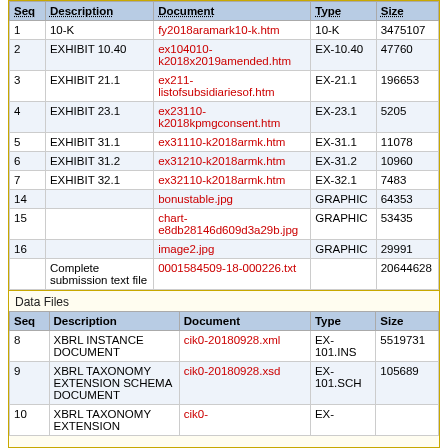| Seq | Description | Document | Type | Size |
| --- | --- | --- | --- | --- |
| 1 | 10-K | fy2018aramark10-k.htm | 10-K | 3475107 |
| 2 | EXHIBIT 10.40 | ex104010-k2018x2019amended.htm | EX-10.40 | 47760 |
| 3 | EXHIBIT 21.1 | ex211-listofsubsidiariesof.htm | EX-21.1 | 196653 |
| 4 | EXHIBIT 23.1 | ex23110-k2018kpmgconsent.htm | EX-23.1 | 5205 |
| 5 | EXHIBIT 31.1 | ex31110-k2018armk.htm | EX-31.1 | 11078 |
| 6 | EXHIBIT 31.2 | ex31210-k2018armk.htm | EX-31.2 | 10960 |
| 7 | EXHIBIT 32.1 | ex32110-k2018armk.htm | EX-32.1 | 7483 |
| 14 |  | bonustable.jpg | GRAPHIC | 64353 |
| 15 |  | chart-e8db28146d609d3a29b.jpg | GRAPHIC | 53435 |
| 16 |  | image2.jpg | GRAPHIC | 29991 |
|  | Complete submission text file | 0001584509-18-000226.txt |  | 20644628 |
Data Files
| Seq | Description | Document | Type | Size |
| --- | --- | --- | --- | --- |
| 8 | XBRL INSTANCE DOCUMENT | cik0-20180928.xml | EX-101.INS | 5519731 |
| 9 | XBRL TAXONOMY EXTENSION SCHEMA DOCUMENT | cik0-20180928.xsd | EX-101.SCH | 105689 |
| 10 | XBRL TAXONOMY EXTENSION | cik0- | EX- |  |